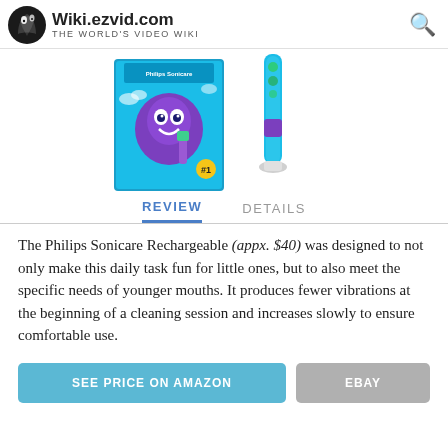Wiki.ezvid.com The World's Video Wiki
[Figure (photo): Product image of Philips Sonicare kids rechargeable toothbrush packaging and device]
REVIEW    DETAILS
The Philips Sonicare Rechargeable (appx. $40) was designed to not only make this daily task fun for little ones, but to also meet the specific needs of younger mouths. It produces fewer vibrations at the beginning of a cleaning session and increases slowly to ensure comfortable use.
SEE PRICE ON AMAZON    EBAY